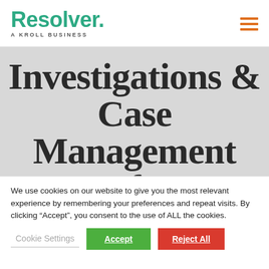[Figure (logo): Resolver logo with tagline 'A Kroll Business' and hamburger menu icon]
Investigations & Case Management Soft...
We use cookies on our website to give you the most relevant experience by remembering your preferences and repeat visits. By clicking “Accept”, you consent to the use of ALL the cookies.